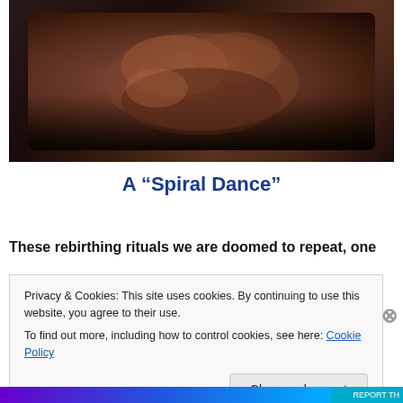[Figure (photo): Dark artistic photograph of a figure in a curled/contorted pose against a dark background, with dramatic lighting highlighting skin tones]
A “Spiral Dance”
These rebirthing rituals we are doomed to repeat, one
Privacy & Cookies: This site uses cookies. By continuing to use this website, you agree to their use.
To find out more, including how to control cookies, see here: Cookie Policy
Close and accept